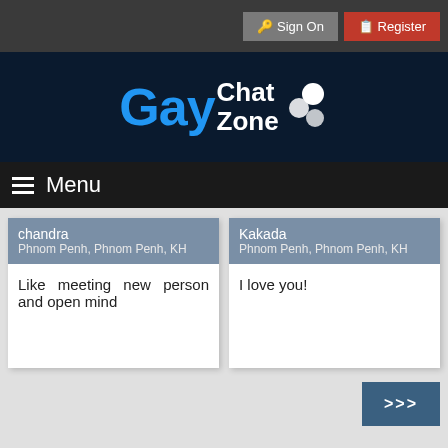Sign On  Register
[Figure (logo): GayChatZone logo with blue 'Gay' text and white 'Chat Zone' text on dark navy background with bubble icons]
Menu
chandra
Phnom Penh, Phnom Penh, KH
Like meeting new person and open mind
Kakada
Phnom Penh, Phnom Penh, KH
I love you!
>>>